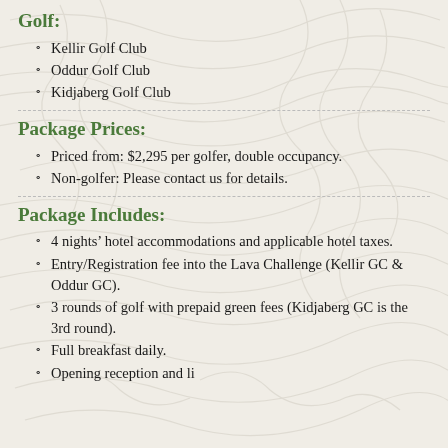Golf:
Kellir Golf Club
Oddur Golf Club
Kidjaberg Golf Club
Package Prices:
Priced from: $2,295 per golfer, double occupancy.
Non-golfer: Please contact us for details.
Package Includes:
4 nights' hotel accommodations and applicable hotel taxes.
Entry/Registration fee into the Lava Challenge (Kellir GC & Oddur GC).
3 rounds of golf with prepaid green fees (Kidjaberg GC is the 3rd round).
Full breakfast daily.
Opening reception and li...